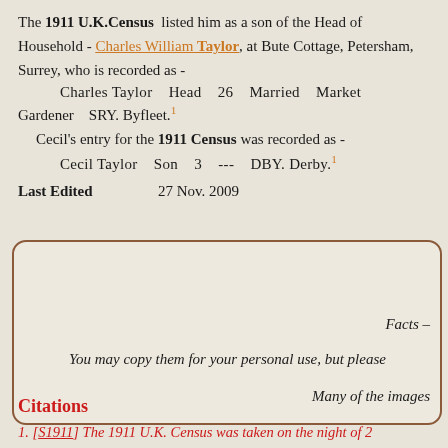The 1911 U.K.Census listed him as a son of the Head of Household - Charles William Taylor, at Bute Cottage, Petersham, Surrey, who is recorded as -
    Charles Taylor    Head    26    Married    Market Gardener    SRY. Byfleet.1
    Cecil's entry for the 1911 Census was recorded as -
    Cecil Taylor    Son    3    ---    DBY. Derby.1
Last Edited    27 Nov. 2009
Facts –
You may copy them for your personal use, but please
Many of the images
Citations
1. [S1911] The 1911 U.K. Census was taken on the night of 2